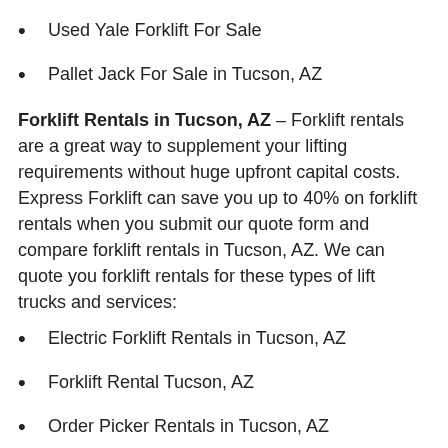Used Yale Forklift For Sale
Pallet Jack For Sale in Tucson, AZ
Forklift Rentals in Tucson, AZ – Forklift rentals are a great way to supplement your lifting requirements without huge upfront capital costs. Express Forklift can save you up to 40% on forklift rentals when you submit our quote form and compare forklift rentals in Tucson, AZ. We can quote you forklift rentals for these types of lift trucks and services:
Electric Forklift Rentals in Tucson, AZ
Forklift Rental Tucson, AZ
Order Picker Rentals in Tucson, AZ
Pallet Jack Rentals in Tucson, AZ